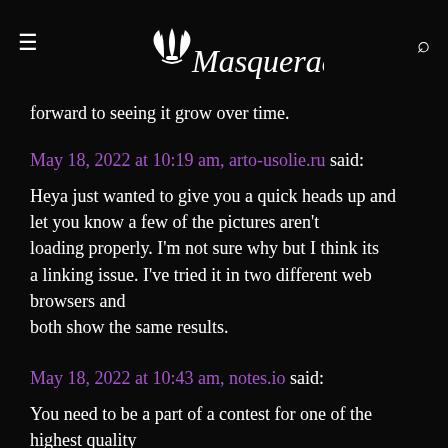Masquerade
forward to seeing it grow over time.
May 18, 2022 at 10:19 am, arto-usolie.ru said:
Heya just wanted to give you a quick heads up and let you know a few of the pictures aren't loading properly. I'm not sure why but I think its a linking issue. I've tried it in two different web browsers and both show the same results.
May 18, 2022 at 10:43 am, notes.io said:
You need to be a part of a contest for one of the highest quality